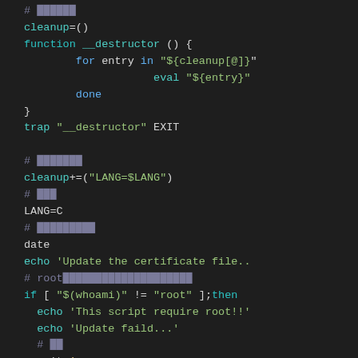[Figure (screenshot): Shell script code snippet with syntax highlighting on dark background. Shows bash functions for cleanup, destructor, trap, LANG setting, date, echo, root check, and cd commands.]